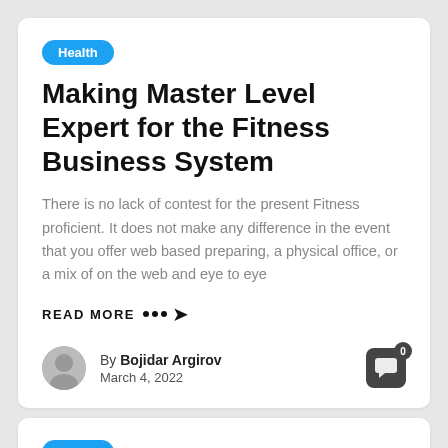Health
Making Master Level Expert for the Fitness Business System
There is no lack of contest for the present Fitness proficient. It does not make any difference in the event that you offer web based preparing, a physical office, or a mix of on the web and eye to eye
READ MORE ●●●➜
By Bojidar Argirov
March 4, 2022
Health